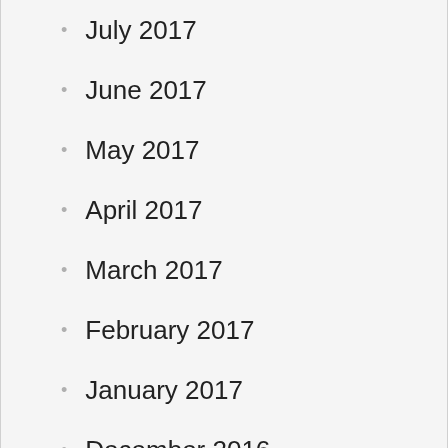July 2017
June 2017
May 2017
April 2017
March 2017
February 2017
January 2017
December 2016
November 2016
October 2016
September 2016
August 2016
July 2016
June 2016
May 2016
April 2016
March 2016
February 2016